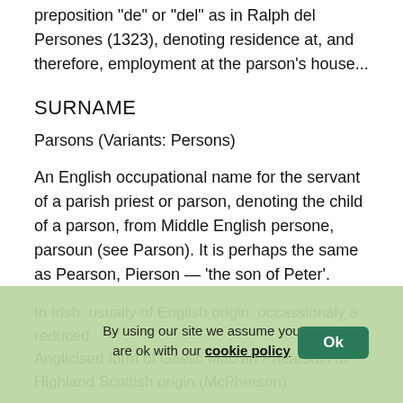preposition "de" or "del" as in Ralph del Persones (1323), denoting residence at, and therefore, employment at the parson's house...
SURNAME
Parsons (Variants: Persons)
An English occupational name for the servant of a parish priest or parson, denoting the child of a parson, from Middle English persone, parsoun (see Parson). It is perhaps the same as Pearson, Pierson — 'the son of Peter'.
In Irish, usually of English origin, occassionaly a reduced Anglicised form of Gaelic Mac an Phearsain of Highland Scottish origin (McPherson).